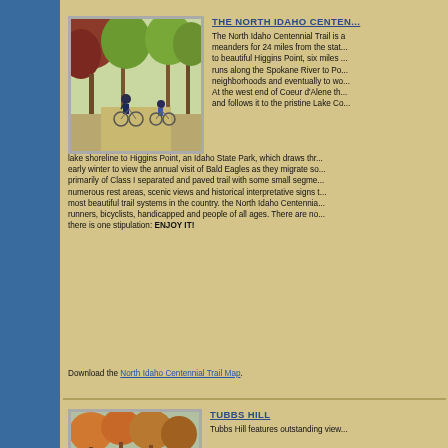[Figure (photo): Two cyclists riding on a tree-lined path, man and child on bicycles under red/green leafy trees]
THE NORTH IDAHO CENTENN...
The North Idaho Centennial Trail is a meanders for 24 miles from the state... to beautiful Higgins Point, six miles... runs along the Spokane River to Po... neighborhoods and eventually to wo... At the west end of Coeur d'Alene the... and follows it to the pristine Lake Co... lake shoreline to Higgins Point, an Idaho State Park, which draws thr... early winter to view the annual visit of Bald Eagles as they migrate so... primarily of Class I separated and paved trail with some small segme... numerous rest areas, scenic views and historical interpretative signs t... most beautiful trail systems in the country. the North Idaho Centennia... runners, bicyclists, handicapped and people of all ages. There are no... there is one stipulation: ENJOY IT!
Download the North Idaho Centennial Trail Map.
[Figure (photo): Child standing outdoors near trees in autumn foliage]
TUBBS HILL
Tubbs Hill features outstanding view...